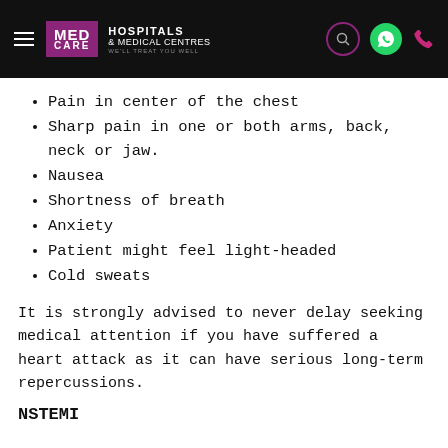[Figure (logo): MedCare Hospitals & Medical Centres website header with logo, hamburger menu, search icon, WhatsApp icon, and phone icon on black background]
Pain in center of the chest
Sharp pain in one or both arms, back, neck or jaw.
Nausea
Shortness of breath
Anxiety
Patient might feel light-headed
Cold sweats
It is strongly advised to never delay seeking medical attention if you have suffered a heart attack as it can have serious long-term repercussions.
NSTEMI